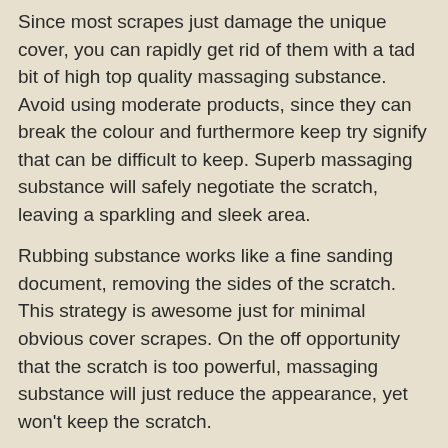Since most scrapes just damage the unique cover, you can rapidly get rid of them with a tad bit of high top quality massaging substance. Avoid using moderate products, since they can break the colour and furthermore keep try signify that can be difficult to keep. Superb massaging substance will safely negotiate the scratch, leaving a sparkling and sleek area.
Rubbing substance works like a fine sanding document, removing the sides of the scratch. This strategy is awesome just for minimal obvious cover scrapes. On the off opportunity that the scratch is too powerful, massaging substance will just reduce the appearance, yet won't keep the scratch.
Auto scratch repair directions:
Begin by cleaning out the outer lining with some hot water and few falls of Beginning dish cleaner. Get more information about scratch repair then you can always consider удаление царапин. This will get rid of all the earth and wax around the scraped variety. Next, implement some